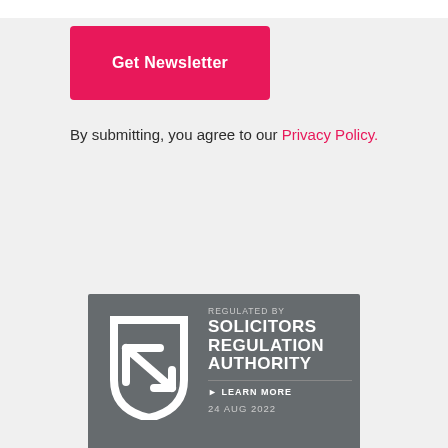[Figure (other): Pink 'Get Newsletter' button with white text on a pink/crimson background]
By submitting, you agree to our Privacy Policy.
[Figure (logo): Solicitors Regulation Authority badge on grey background with shield logo, text 'REGULATED BY SOLICITORS REGULATION AUTHORITY', 'LEARN MORE', and '24 AUG 2022']